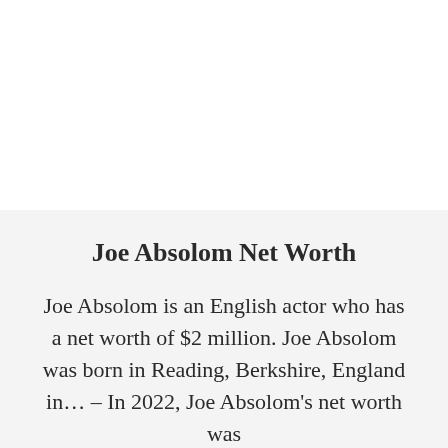Joe Absolom Net Worth
Joe Absolom is an English actor who has a net worth of $2 million. Joe Absolom was born in Reading, Berkshire, England in… – In 2022, Joe Absolom's net worth was